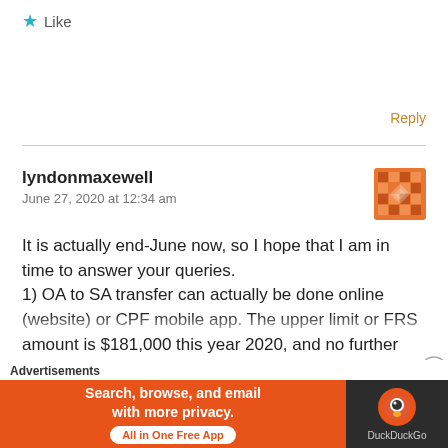★ Like
Reply
lyndonmaxewell
June 27, 2020 at 12:34 am
It is actually end-June now, so I hope that I am in time to answer your queries.
1) OA to SA transfer can actually be done online (website) or CPF mobile app. The upper limit or FRS amount is $181,000 this year 2020, and no further transfer is allowed beyond that. When you reach 55
Advertisements
[Figure (screenshot): DuckDuckGo advertisement banner: orange left panel with text 'Search, browse, and email with more privacy. All in One Free App' and dark right panel with DuckDuckGo logo and text 'DuckDuckGo']